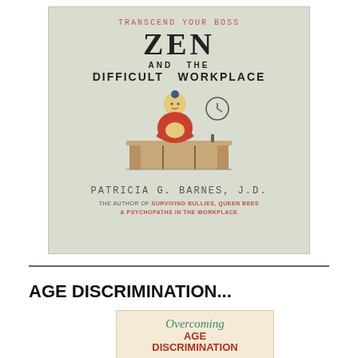[Figure (illustration): Book cover for 'Transcend Your Boss: Zen and the Difficult Workplace' by Patricia G. Barnes, J.D. Light sage green background with illustration of a Buddha figure sitting at a desk, and a clock. Text: 'The author of Surviving Bullies, Queen Bees & Psychopaths in the Workplace'.]
AGE DISCRIMINATION...
[Figure (illustration): Partial book cover for 'Overcoming Age Discrimination' on a beige/tan background with green italic title 'Overcoming' and red bold text 'AGE DISCRIMINATION'.]